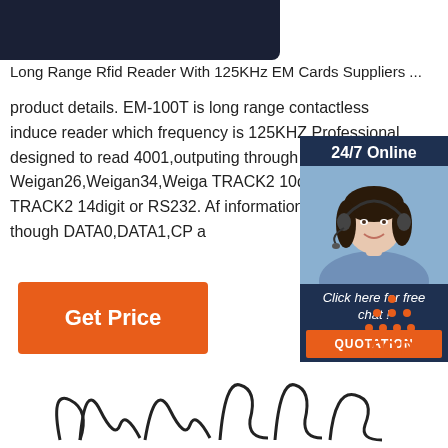[Figure (photo): Dark navy/black background product image area at top left]
Long Range Rfid Reader With 125KHz EM Cards Suppliers ...
product details. EM-100T is long range contactless induce reader which frequency is 125KHZ,Professional designed to read 4001,outputing through Weigan26,Weigan34,Weigan TRACK2 10digit,ABA TRACK2 14digit or RS232. Af information then output though DATA0,DATA1,CP a
[Figure (photo): 24/7 Online chat widget with photo of woman wearing headset, dark blue background, with Click here for free chat and QUOTATION button]
[Figure (other): Orange Get Price button]
[Figure (other): TOP back-to-top icon with orange dots and text]
[Figure (other): Decorative cursive/script text at bottom of page]